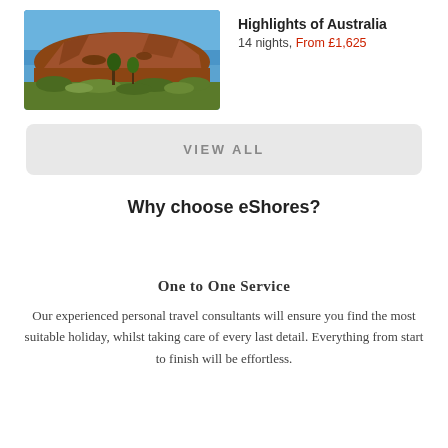[Figure (photo): Photo of Uluru (Ayers Rock) in Australia, showing the large red sandstone rock formation under a blue sky with green vegetation in the foreground.]
Highlights of Australia
14 nights, From £1,625
VIEW ALL
Why choose eShores?
One to One Service
Our experienced personal travel consultants will ensure you find the most suitable holiday, whilst taking care of every last detail. Everything from start to finish will be effortless.